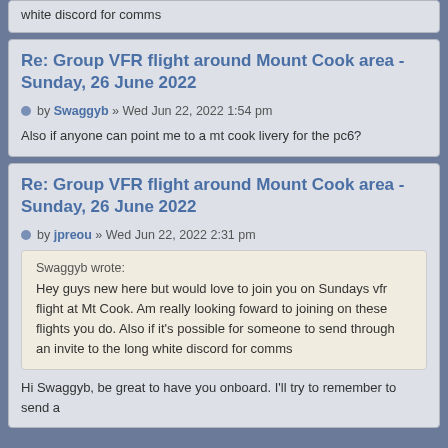white discord for comms
Re: Group VFR flight around Mount Cook area - Sunday, 26 June 2022
by Swaggyb » Wed Jun 22, 2022 1:54 pm
Also if anyone can point me to a mt cook livery for the pc6?
Re: Group VFR flight around Mount Cook area - Sunday, 26 June 2022
by jpreou » Wed Jun 22, 2022 2:31 pm
Swaggyb wrote:
Hey guys new here but would love to join you on Sundays vfr flight at Mt Cook. Am really looking foward to joining on these flights you do. Also if it's possible for someone to send through an invite to the long white discord for comms
Hi Swaggyb, be great to have you onboard. I'll try to remember to send a